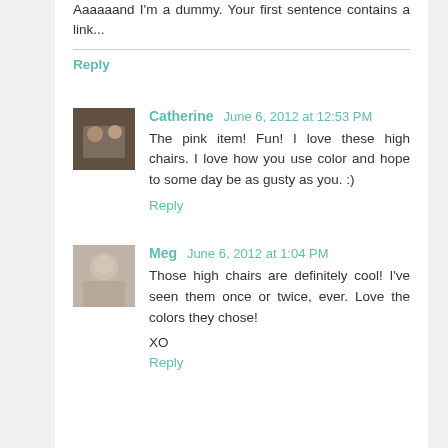Aaaaaand I'm a dummy. Your first sentence contains a link...
Reply
[Figure (photo): Avatar thumbnail of commenter Catherine]
Catherine June 6, 2012 at 12:53 PM
The pink item! Fun! I love these high chairs. I love how you use color and hope to some day be as gusty as you. :)
Reply
[Figure (photo): Avatar thumbnail of commenter Meg]
Meg June 6, 2012 at 1:04 PM
Those high chairs are definitely cool! I've seen them once or twice, ever. Love the colors they chose!
XO
Reply